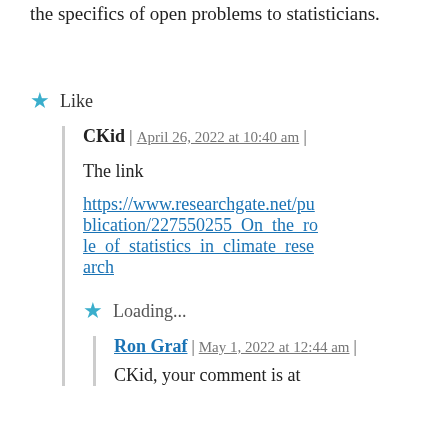the specifics of open problems to statisticians.
Like
CKid | April 26, 2022 at 10:40 am |
The link
https://www.researchgate.net/publication/227550255_On_the_role_of_statistics_in_climate_research
Loading...
Ron Graf | May 1, 2022 at 12:44 am |
CKid, your comment is at